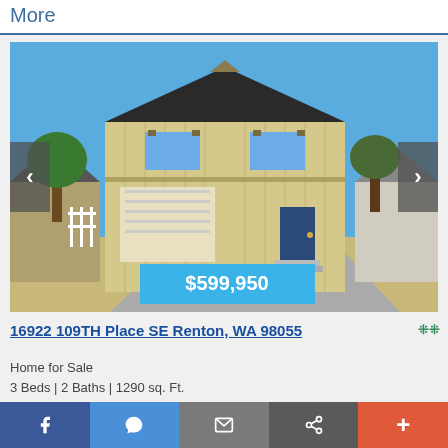More
[Figure (photo): Exterior photo of a two-story single-family home with beige/tan vertical siding, black roof, attached garage, and blue front door. Blue sky and trees visible in background. Price badge showing $599,950 overlaid at bottom.]
16922 109TH Place SE Renton, WA 98055
Home for Sale
3 Beds | 2 Baths | 1290 sq. Ft.
Facebook | Messenger | Mail | Share | +